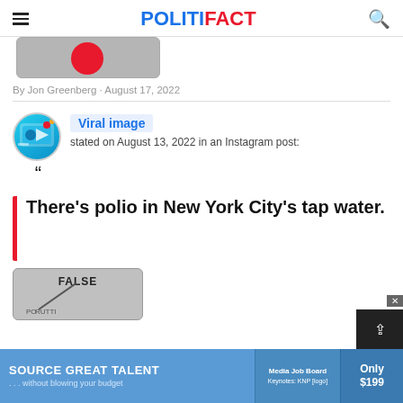POLITIFACT
[Figure (screenshot): Partial screenshot showing a grey image with a red circular element, cropped at top]
By Jon Greenberg • August 17, 2022
[Figure (illustration): Circular avatar icon for 'Viral image' claim type showing social media imagery]
Viral image
stated on August 13, 2022 in an Instagram post:
There's polio in New York City's tap water.
[Figure (illustration): PolitiFact truth-o-meter gauge showing FALSE rating, partially visible]
[Figure (screenshot): Advertisement banner: SOURCE GREAT TALENT ...without blowing your budget, Media Job Board, Only $199]